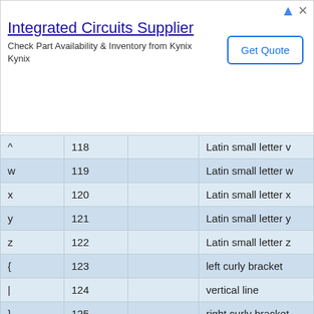[Figure (other): Advertisement banner for Integrated Circuits Supplier - Kynix. Text: 'Integrated Circuits Supplier', 'Check Part Availability & Inventory from Kynix', 'Kynix'. Button: 'Get Quote'.]
| Char | Dec | HTML | Description |
| --- | --- | --- | --- |
| ^ | 118 |  | Latin small letter v |
| w | 119 |  | Latin small letter w |
| x | 120 |  | Latin small letter x |
| y | 121 |  | Latin small letter y |
| z | 122 |  | Latin small letter z |
| { | 123 |  | left curly bracket |
| | | 124 |  | vertical line |
| } | 125 |  | right curly bracket |
| ~ | 126 |  | tilde |
| not used | 127 |  | not used |
| € | 128 | &euro; | euro sign |